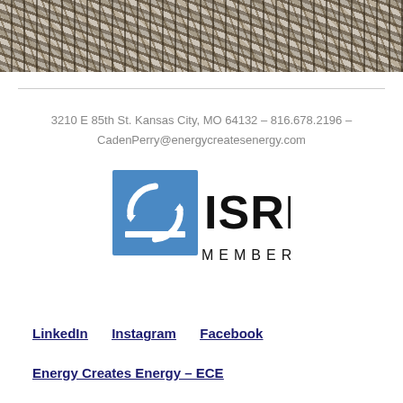[Figure (photo): Close-up photograph of dry straw or hay material with metal wire/fencing visible, dark and textured background]
3210 E 85th St. Kansas City, MO 64132 – 816.678.2196 – CadenPerry@energycreatesenergy.com
[Figure (logo): ISRI MEMBER logo — blue square with two overlapping circular arrows symbol and white text, followed by bold black ISRI text and MEMBER text below]
LinkedIn   Instagram   Facebook
Energy Creates Energy – ECE